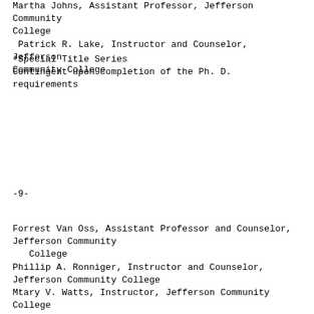Martha Johns, Assistant Professor, Jefferson Community College
 Patrick R. Lake, Instructor and Counselor, Jefferson Community College
*Special Title Series
Contingent upon completion of the Ph. D. requirements
-9-
Forrest Van Oss, Assistant Professor and Counselor, Jefferson Community
   College
Phillip A. Ronniger, Instructor and Counselor, Jefferson Community College
Mtary V. Watts, Instructor, Jefferson Community College
Mary Anne Wood, Instructor, Jefferson Community College
Anne C. McCoy. Instructor, Lexington Technical Institute